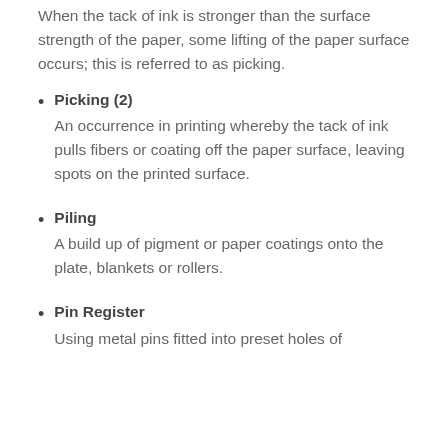When the tack of ink is stronger than the surface strength of the paper, some lifting of the paper surface occurs; this is referred to as picking.
Picking (2)
An occurrence in printing whereby the tack of ink pulls fibers or coating off the paper surface, leaving spots on the printed surface.
Piling
A build up of pigment or paper coatings onto the plate, blankets or rollers.
Pin Register
Using metal pins fitted into preset holes of